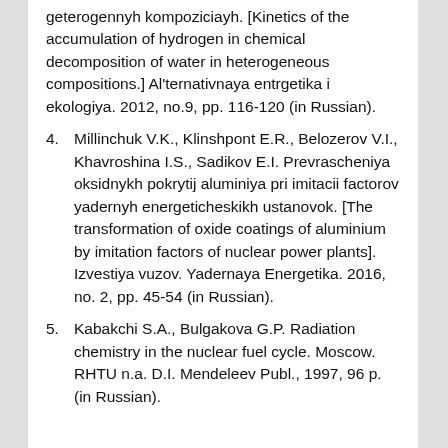geterogennyh kompoziciayh. [Kinetics of the accumulation of hydrogen in chemical decomposition of water in heterogeneous compositions.] Al'ternativnaya entrgetika i ekologiya. 2012, no.9, pp. 116-120 (in Russian).
4. Millinchuk V.K., Klinshpont E.R., Belozerov V.I., Khavroshina I.S., Sadikov E.I. Prevrascheniya oksidnykh pokrytij aluminiya pri imitacii factorov yadernyh energeticheskikh ustanovok. [The transformation of oxide coatings of aluminium by imitation factors of nuclear power plants]. Izvestiya vuzov. Yadernaya Energetika. 2016, no. 2, pp. 45-54 (in Russian).
5. Kabakchi S.A., Bulgakova G.P. Radiation chemistry in the nuclear fuel cycle. Moscow. RHTU n.a. D.I. Mendeleev Publ., 1997, 96 p. (in Russian).